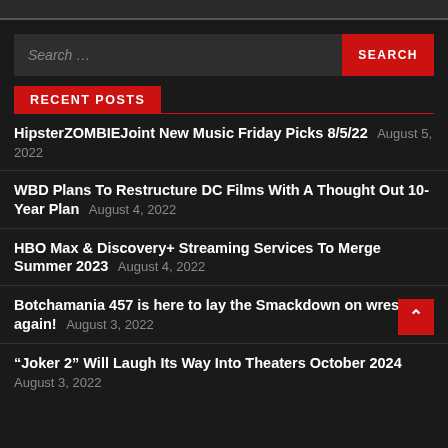[Figure (screenshot): Top bar / partial header area dark gray strip at top of page]
Search ...
HipsterZOMBIEJoint New Music Friday Picks 8/5/22 August 5, 2022
WBD Plans To Restructure DC Films With A Thought Out 10-Year Plan August 4, 2022
HBO Max & Discovery+ Streaming Services To Merge Summer 2023 August 4, 2022
Botchamania 457 is here to lay the Smackdown on wrestling again! August 3, 2022
“Joker 2” Will Laugh Its Way Into Theaters October 2024 August 3, 2022